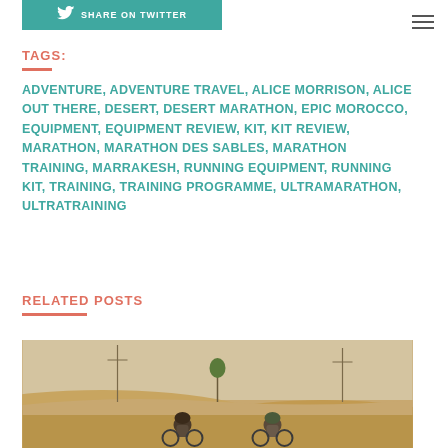[Figure (other): Share on Twitter button with bird icon, teal/green background]
TAGS:
ADVENTURE, ADVENTURE TRAVEL, ALICE MORRISON, ALICE OUT THERE, DESERT, DESERT MARATHON, EPIC MOROCCO, EQUIPMENT, EQUIPMENT REVIEW, KIT, KIT REVIEW, MARATHON, MARATHON DES SABLES, MARATHON TRAINING, MARRAKESH, RUNNING EQUIPMENT, RUNNING KIT, TRAINING, TRAINING PROGRAMME, ULTRAMARATHON, ULTRATRAINING
RELATED POSTS
[Figure (photo): Two people with helmets on bicycles riding through sandy desert landscape with sparse trees in the distance]